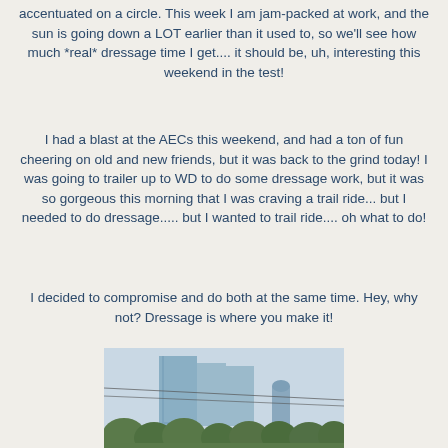accentuated on a circle. This week I am jam-packed at work, and the sun is going down a LOT earlier than it used to, so we'll see how much *real* dressage time I get.... it should be, uh, interesting this weekend in the test!
I had a blast at the AECs this weekend, and had a ton of fun cheering on old and new friends, but it was back to the grind today! I was going to trailer up to WD to do some dressage work, but it was so gorgeous this morning that I was craving a trail ride... but I needed to do dressage..... but I wanted to trail ride.... oh what to do!
I decided to compromise and do both at the same time. Hey, why not? Dressage is where you make it!
[Figure (photo): Photo of city skyline with tall blue-tinted skyscrapers and trees in the foreground]